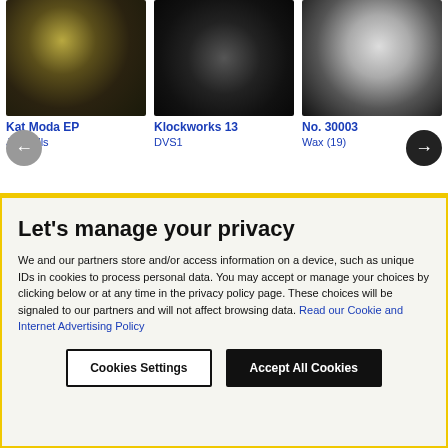[Figure (photo): Kat Moda EP vinyl record album art]
Kat Moda EP
Jeff Mills
[Figure (photo): Klockworks 13 vinyl record album art]
Klockworks 13
DVS1
[Figure (photo): No. 30003 vinyl record album art]
No. 30003
Wax (19)
Let's manage your privacy
We and our partners store and/or access information on a device, such as unique IDs in cookies to process personal data. You may accept or manage your choices by clicking below or at any time in the privacy policy page. These choices will be signaled to our partners and will not affect browsing data. Read our Cookie and Internet Advertising Policy
Cookies Settings
Accept All Cookies